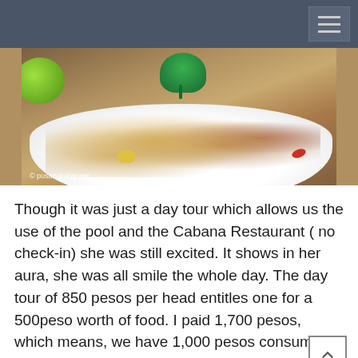[Figure (photo): Photo of a Filipino noodle dish (pancit or similar) with clams, vegetables, and garnish in a white plate, with lime on the side. Watermark reads '© pusangkalye.net']
Though it was just a day tour which allows us the use of the pool and the Cabana Restaurant ( no check-in) she was still excited. It shows in her aura, she was all smile the whole day. The day tour of 850 pesos per head entitles one for a 500peso worth of food. I paid 1,700 pesos, which means, we have 1,000 pesos consumable for food.